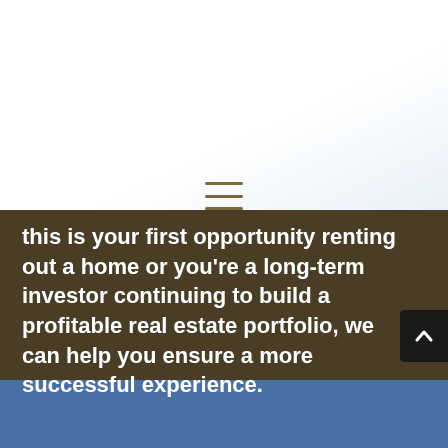[Figure (logo): Dede's Rentals logo — gold line drawing of a house with trees and text 'DEDE'S RENTALS' below]
[Figure (other): PAY RENT button — gold rounded rectangle with white uppercase text]
[Figure (other): REPAIR REQUEST button — gold rounded rectangle with white uppercase text]
[Figure (other): Hamburger menu icon — three horizontal gold lines]
this is your first opportunity renting out a home or you're a long-term investor continuing to build a profitable real estate portfolio, we can help you ensure a more successful experience.